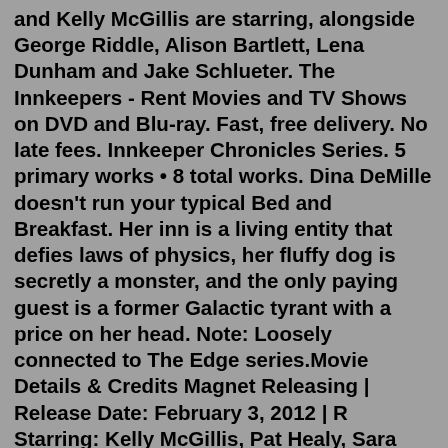and Kelly McGillis are starring, alongside George Riddle, Alison Bartlett, Lena Dunham and Jake Schlueter. The Innkeepers - Rent Movies and TV Shows on DVD and Blu-ray. Fast, free delivery. No late fees. Innkeeper Chronicles Series. 5 primary works • 8 total works. Dina DeMille doesn't run your typical Bed and Breakfast. Her inn is a living entity that defies laws of physics, her fluffy dog is secretly a monster, and the only paying guest is a former Galactic tyrant with a price on her head. Note: Loosely connected to The Edge series.Movie Details & Credits Magnet Releasing | Release Date: February 3, 2012 | R Starring: Kelly McGillis, Pat Healy, Sara Paxton Summary: After over one hundred years of service, The Yankee Pedlar Inn is shutting its doors for good.Feb 03, 2012 · Critics Consensus: It doesn't break any rules of the genre, but The Innkeepers serves as additional proof that Ti West is a young director that discriminating horror fans can trust. 17+ COMMON SENSE Well-crafted haunted hotel